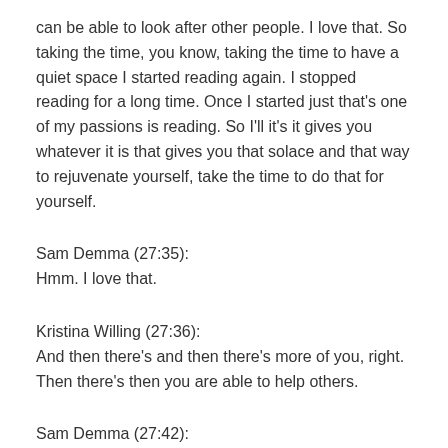can be able to look after other people. I love that. So taking the time, you know, taking the time to have a quiet space I started reading again. I stopped reading for a long time. Once I started just that's one of my passions is reading. So I'll it's it gives you whatever it is that gives you that solace and that way to rejuvenate yourself, take the time to do that for yourself.
Sam Demma (27:35):
Hmm. I love that.
Kristina Willing (27:36):
And then there's and then there's more of you, right. Then there's then you are able to help others.
Sam Demma (27:42):
It's the whole idea. Not get better. Yeah. The whole idea